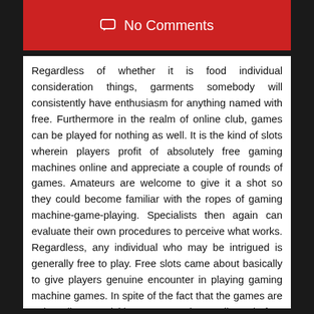No Comments
Regardless of whether it is food individual consideration things, garments somebody will consistently have enthusiasm for anything named with free. Furthermore in the realm of online club, games can be played for nothing as well. It is the kind of slots wherein players profit of absolutely free gaming machines online and appreciate a couple of rounds of games. Amateurs are welcome to give it a shot so they could become familiar with the ropes of gaming machine-game-playing. Specialists then again can evaluate their own procedures to perceive what works. Regardless, any individual who may be intrigued is generally free to play. Free slots came about basically to give players genuine encounter in playing gaming machine games. In spite of the fact that the games are truly direct, picking up understanding before consuming some money on the genuine games should help in expanding the odds of